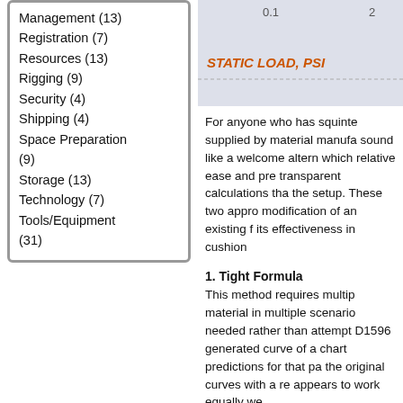Management (13)
Registration (7)
Resources (13)
Rigging (9)
Security (4)
Shipping (4)
Space Preparation (9)
Storage (13)
Technology (7)
Tools/Equipment (31)
[Figure (continuous-plot): Partial view of a chart with x-axis label 'STATIC LOAD, PSI' in red/orange text, partial axis values 0.1 and 2 visible at top.]
For anyone who has squinte supplied by material manufa sound like a welcome altern which relative ease and pre transparent calculations tha the setup. These two appro modification of an existing f its effectiveness in cushion
1. Tight Formula
This method requires multip material in multiple scenario needed rather than attempt D1596 generated curve of a chart predictions for that pa the original curves with a re appears to work equally we